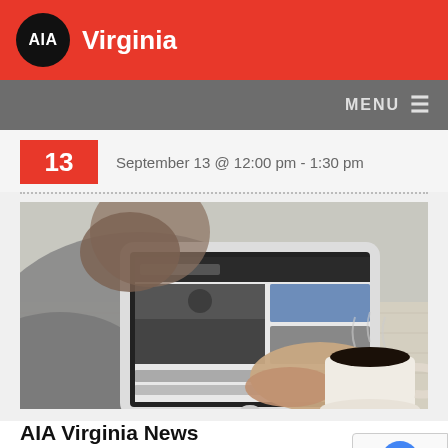AIA Virginia
MENU ≡
13
September 13 @ 12:00 pm - 1:30 pm
[Figure (photo): Person using a tablet device at a desk with a coffee cup nearby]
AIA Virginia News
AIA Virginia News is the monthly member digest of news items. See current and back issues.